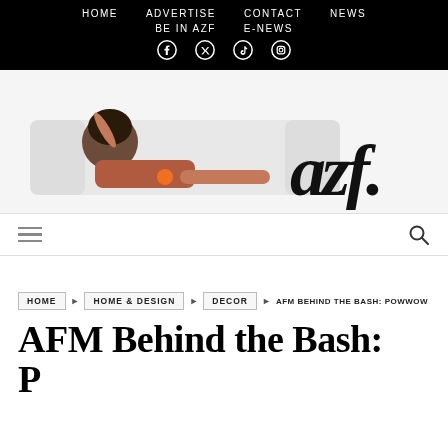HOME  ADVERTISE  CONTACT  NEWS  BE IN AZF  E-NEWS
[Figure (logo): AZF magazine logo banner with woman lying on white sofa holding an orange, large italic 'azf.' text on right]
Navigation toolbar with hamburger menu and search icon
HOME › HOME & DESIGN › DECOR › AFM BEHIND THE BASH: POWWOW
AFM Behind the Bash: P...